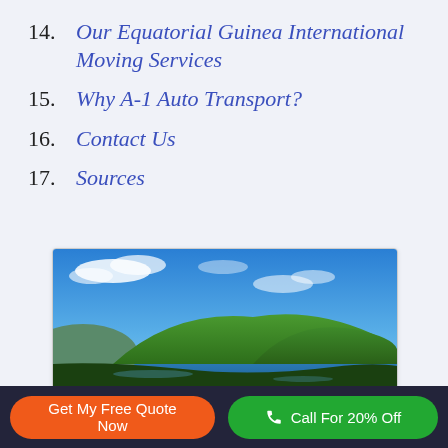14. Our Equatorial Guinea International Moving Services
15. Why A-1 Auto Transport?
16. Contact Us
17. Sources
[Figure (photo): Aerial view of a tropical island with green hills, blue sky with scattered clouds, and ocean in the foreground — likely Equatorial Guinea coastline.]
Get My Free Quote Now   Call For 20% Off